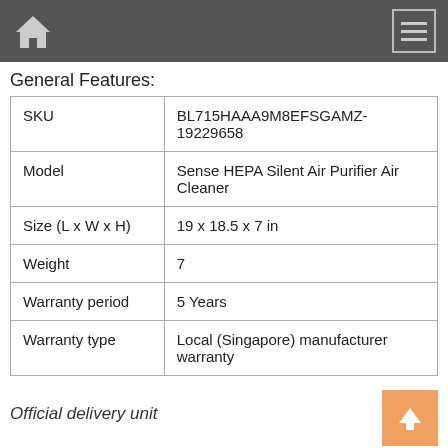Navigation bar with home icon and menu icon
General Features:
| SKU | BL715HAAA9M8EFSGAMZ-19229658 |
| Model | Sense HEPA Silent Air Purifier Air Cleaner |
| Size (L x W x H) | 19 x 18.5 x 7 in |
| Weight | 7 |
| Warranty period | 5 Years |
| Warranty type | Local (Singapore) manufacturer warranty |
Official delivery unit
[Figure (logo): Singapore cursive logo in blue]